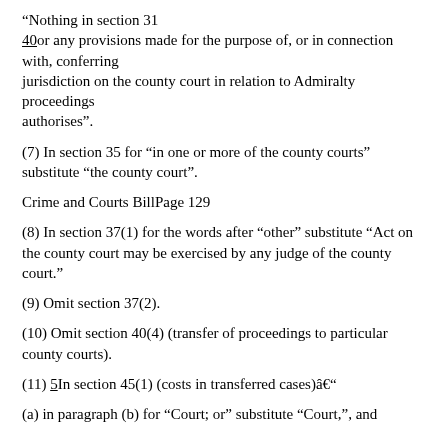“Nothing in section 31
40or any provisions made for the purpose of, or in connection with, conferring
jurisdiction on the county court in relation to Admiralty proceedings
authorises”.
(7) In section 35 for “in one or more of the county courts” substitute “the county court”.
Crime and Courts BillPage 129
(8) In section 37(1) for the words after “other” substitute “Act on the county court may be exercised by any judge of the county court.”
(9) Omit section 37(2).
(10) Omit section 40(4) (transfer of proceedings to particular county courts).
(11) 5In section 45(1) (costs in transferred cases)â€”
(a) in paragraph (b) for “Court; or” substitute “Court,”, and